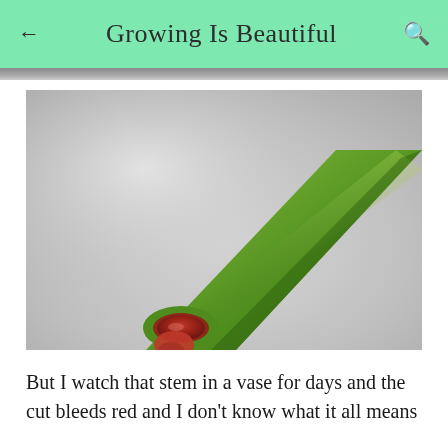← Growing Is Beautiful 🔍
[Figure (photo): Close-up macro photograph of a cut green plant stem with red/reddish sap or resin bleeding from the cut end, on a soft grey background]
But I watch that stem in a vase for days and the cut bleeds red and I don't know what it all means